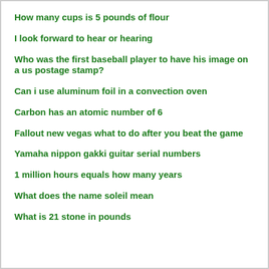How many cups is 5 pounds of flour
I look forward to hear or hearing
Who was the first baseball player to have his image on a us postage stamp?
Can i use aluminum foil in a convection oven
Carbon has an atomic number of 6
Fallout new vegas what to do after you beat the game
Yamaha nippon gakki guitar serial numbers
1 million hours equals how many years
What does the name soleil mean
What is 21 stone in pounds